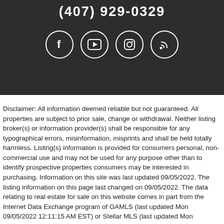(407) 929-0329
[Figure (illustration): Social media icons: Facebook, YouTube, Instagram, and a blog/RSS icon, displayed as white icons in circular outlines on dark background]
Disclaimer: All information deemed reliable but not guaranteed. All properties are subject to prior sale, change or withdrawal. Neither listing broker(s) or information provider(s) shall be responsible for any typographical errors, misinformation, misprints and shall be held totally harmless. Listing(s) information is provided for consumers personal, non-commercial use and may not be used for any purpose other than to identify prospective properties consumers may be interested in purchasing. Information on this site was last updated 09/05/2022. The listing information on this page last changed on 09/05/2022. The data relating to real estate for sale on this website comes in part from the Internet Data Exchange program of GAMLS (last updated Mon 09/05/2022 12:11:15 AM EST) or Stellar MLS (last updated Mon 09/05/2022 12:03:02 AM EST) or SPC MLS (last updated Sun 09/04/2022 11:20:18 PM EST) or Martin MLS (last updated Sun 09/04/2022 11:38:08 PM EST) or Indian River MLS (last updated Sun 09/04/2022 11:29:09 PM EST) or Daytona MLS (last updated Sun 09/04/2022 11:35:11 PM EST) or New Smyrna MLS (last updated Sun 09/04/2022 11:23:09 PM EST) or Northeast Florida MLS (last updated Sun 09/04/2022 11:37:39 PM EST) or Beaches MLS (last updated Sun